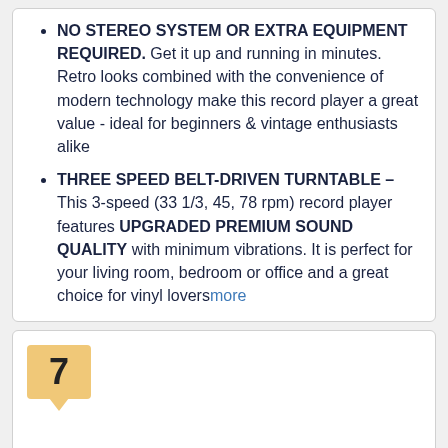NO STEREO SYSTEM OR EXTRA EQUIPMENT REQUIRED. Get it up and running in minutes. Retro looks combined with the convenience of modern technology make this record player a great value - ideal for beginners & vintage enthusiasts alike
THREE SPEED BELT-DRIVEN TURNTABLE – This 3-speed (33 1/3, 45, 78 rpm) record player features UPGRADED PREMIUM SOUND QUALITY with minimum vibrations. It is perfect for your living room, bedroom or office and a great choice for vinyl loversmore
7